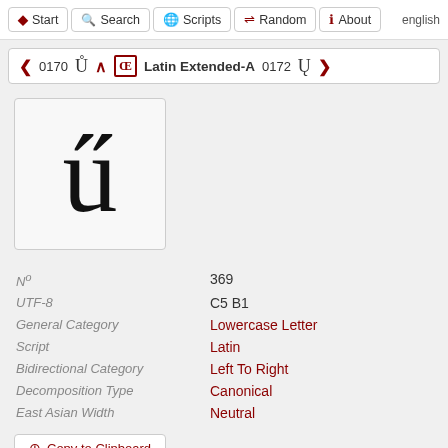Start | Search | Scripts | Random | About | english
< 0170 Ů ^ ŒE Latin Extended-A 0172 Ų >
[Figure (illustration): Large display of the Unicode character ű (u with double acute accent) in serif font inside a light gray rounded box]
| Nº | 369 |
| UTF-8 | C5 B1 |
| General Category | Lowercase Letter |
| Script | Latin |
| Bidirectional Category | Left To Right |
| Decomposition Type | Canonical |
| East Asian Width | Neutral |
Copy to Clipboard